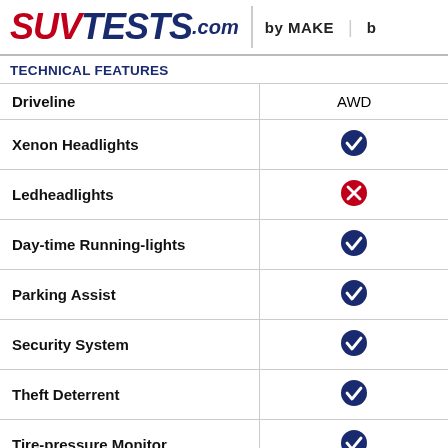SUVTESTS.com | by MAKE | b
TECHNICAL FEATURES
| Feature | Value |
| --- | --- |
| Driveline | AWD |
| Xenon Headlights | ✓ |
| Ledheadlights | ✗ |
| Day-time Running-lights | ✓ |
| Parking Assist | ✓ |
| Security System | ✓ |
| Theft Deterrent | ✓ |
| Tire-pressure Monitor | ✓ |
WEIGHTS & CAPACITIES
| Feature | Value |
| --- | --- |
| Weight [lbs.] | 4,045 |